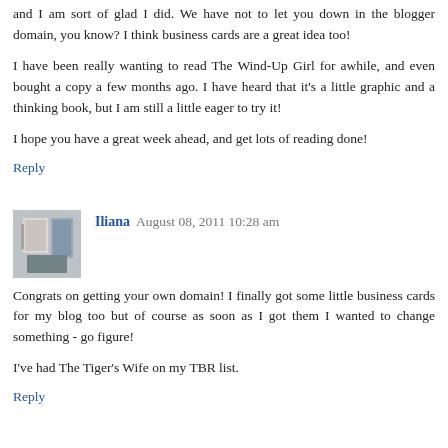and I am sort of glad I did. We have not to let you down in the blogger domain, you know? I think business cards are a great idea too!
I have been really wanting to read The Wind-Up Girl for awhile, and even bought a copy a few months ago. I have heard that it's a little graphic and a thinking book, but I am still a little eager to try it!
I hope you have a great week ahead, and get lots of reading done!
Reply
Iliana  August 08, 2011 10:28 am
Congrats on getting your own domain! I finally got some little business cards for my blog too but of course as soon as I got them I wanted to change something - go figure!
I've had The Tiger's Wife on my TBR list.
Reply